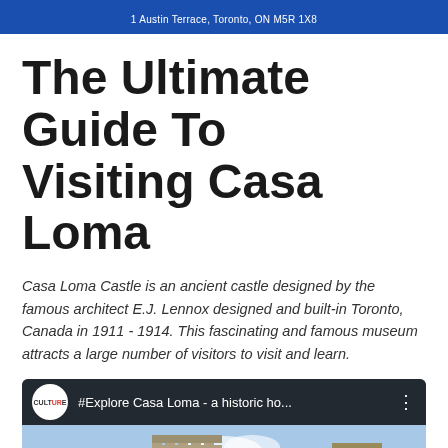1 Austin Terrace, Toronto, ON M5R 1X8
The Ultimate Guide To Visiting Casa Loma
Casa Loma Castle is an ancient castle designed by the famous architect E.J. Lennox designed and built-in Toronto, Canada in 1911 - 1914. This fascinating and famous museum attracts a large number of visitors to visit and learn.
[Figure (screenshot): YouTube-style video thumbnail showing Casa Loma castle exterior with Culture channel logo and title '#Explore Casa Loma - a historic ho...']